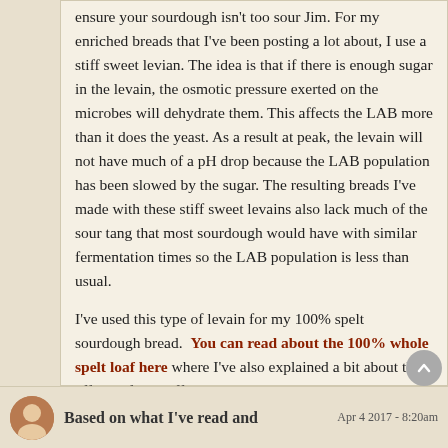ensure your sourdough isn't too sour Jim.  For my enriched breads that I've been posting a lot about, I use a stiff sweet levian.  The idea is that if there is enough sugar in the levain, the osmotic pressure exerted on the microbes will dehydrate them.  This affects the LAB more than it does the yeast.  As a result at peak, the levain will not have much of a pH drop because the LAB population has been slowed by the sugar.  The resulting breads I've made with these stiff sweet levains also lack much of the sour tang that most sourdough would have with similar fermentation times so the LAB population is less than usual.
I've used this type of levain for my 100% spelt sourdough bread.  You can read about the 100% whole spelt loaf here where I've also explained a bit about the effects of the stiff sweet starter.
Benny
Log in or register to post comments
Based on what I've read and
Apr 4 2017 - 8:20am